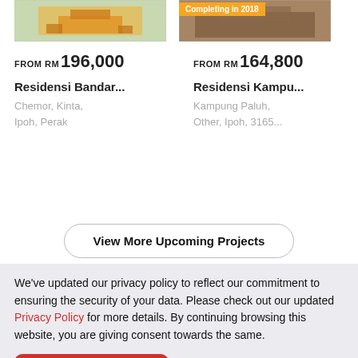[Figure (photo): Aerial/top view of a building complex, left listing image]
[Figure (photo): Street-level photo of building with 'Completing in 2018' badge overlay, right listing image]
FROM RM196,000
FROM RM164,800
Residensi Bandar...
Residensi Kampu...
Chemor, Kinta,
Ipoh, Perak
Kampung Paluh,
Other, Ipoh, 3165...
View More Upcoming Projects
We've updated our privacy policy to reflect our commitment to ensuring the security of your data. Please check out our updated Privacy Policy for more details. By continuing browsing this website, you are giving consent towards the same.
Accept & Close